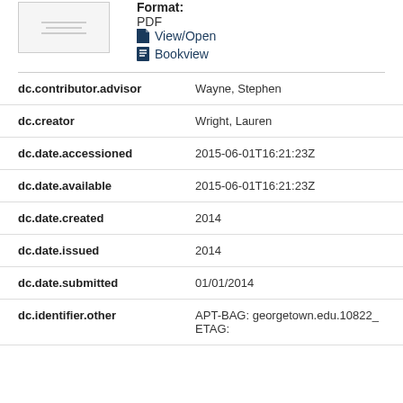[Figure (other): Thumbnail image of a document page]
Format: PDF
View/Open
Bookview
| Field | Value |
| --- | --- |
| dc.contributor.advisor | Wayne, Stephen |
| dc.creator | Wright, Lauren |
| dc.date.accessioned | 2015-06-01T16:21:23Z |
| dc.date.available | 2015-06-01T16:21:23Z |
| dc.date.created | 2014 |
| dc.date.issued | 2014 |
| dc.date.submitted | 01/01/2014 |
| dc.identifier.other | APT-BAG: georgetown.edu.10822_
ETAG: |